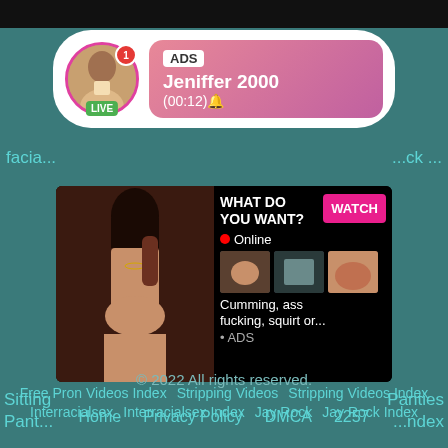[Figure (screenshot): Top dark banner strip]
[Figure (infographic): Ad notification bubble with avatar, LIVE badge, 'ADS Jeniffer 2000 (00:12)' text on pink gradient background]
facia...  ...ck ...
[Figure (infographic): Adult ad banner: left side photo, right side shows 'WHAT DO YOU WANT?' with pink WATCH button, Online indicator, three thumbnails, text 'Cumming, ass fucking, squirt or... • ADS']
Sitting    Panties
Pant...    ...dex
Free Pron Videos Index    Stripping Videos    Stripping Videos Index
Interracialsex    Interracialsex Index    Jay Rock    Jay Rock Index
© 2022 All rights reserved.
Home    Privacy Policy    DMCA    2257